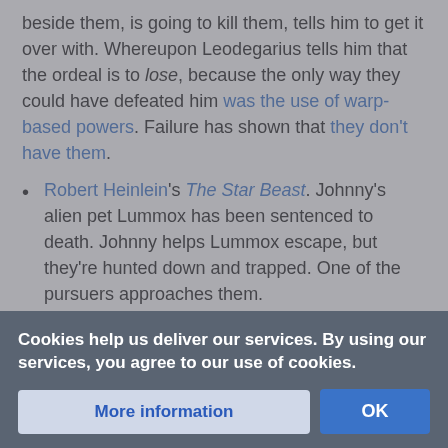beside them, is going to kill them, tells him to get it over with. Whereupon Leodegarius tells him that the ordeal is to lose, because the only way they could have defeated him was the use of warp-based powers. Failure has shown that they don't have them.
Robert Heinlein's The Star Beast. Johnny's alien pet Lummox has been sentenced to death. Johnny helps Lummox escape, but they're hunted down and trapped. One of the pursuers approaches them.
Johnnie found that tears were streaming down his face and that he could not stop them. "Go ahead!" he cried, his voice
means any harm. So kill him quickly ... don't let it ... He broke down and sobbed. Covering his
Cookies help us deliver our services. By using our services, you agree to our use of cookies.
More information
OK